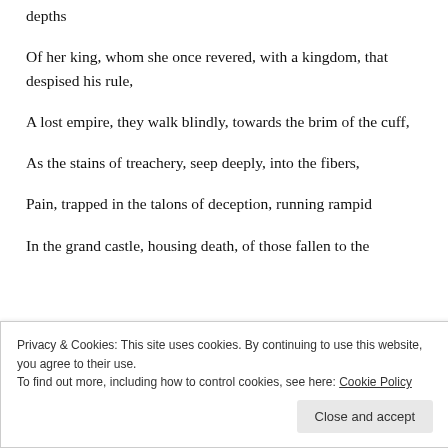depths
Of her king, whom she once revered, with a kingdom, that despised his rule,
A lost empire, they walk blindly, towards the brim of the cuff,
As the stains of treachery, seep deeply, into the fibers,
Pain, trapped in the talons of deception, running rampid
In the grand castle, housing death, of those fallen to the
Privacy & Cookies: This site uses cookies. By continuing to use this website, you agree to their use.
To find out more, including how to control cookies, see here: Cookie Policy